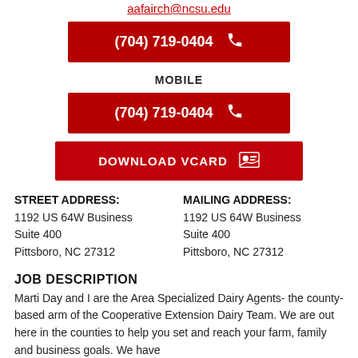aafairch@ncsu.edu
(704) 719-0404
MOBILE
(704) 719-0404
DOWNLOAD VCARD
STREET ADDRESS:
1192 US 64W Business
Suite 400
Pittsboro, NC 27312
MAILING ADDRESS:
1192 US 64W Business
Suite 400
Pittsboro, NC 27312
JOB DESCRIPTION
Marti Day and I are the Area Specialized Dairy Agents- the county-based arm of the Cooperative Extension Dairy Team. We are out here in the counties to help you set and reach your farm, family and business goals. We have